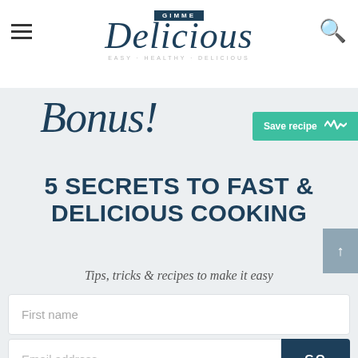GIMME Delicious — EASY · HEALTHY · DELICIOUS
[Figure (illustration): Bonus! script text with Save recipe button]
5 SECRETS TO FAST & DELICIOUS COOKING
Tips, tricks & recipes to make it easy
First name
Email address
GO